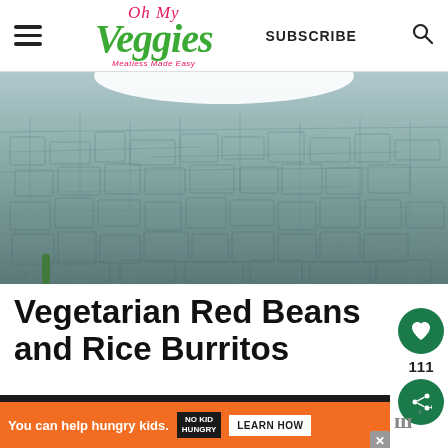Oh My Veggies | SUBSCRIBE
[Figure (photo): Close-up photo of what appears to be blue/grey textured food surface, possibly a burrito or tortilla, with a white plate visible at top]
Vegetarian Red Beans and Rice Burritos
This flavorful Vegetarian Red Beans and Rice Burritos recipe is quick and easy to make.
You can help hungry kids. NO KID HUNGRY LEARN HOW